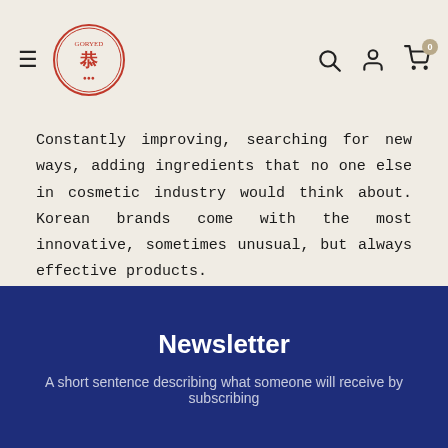GORYED logo and navigation bar with hamburger menu, search, account, and cart icons
Constantly improving, searching for new ways, adding ingredients that no one else in cosmetic industry would think about. Korean brands come with the most innovative, sometimes unusual, but always effective products.
And as a nice addition, all this quality comes with very affordable price!
Newsletter
A short sentence describing what someone will receive by subscribing